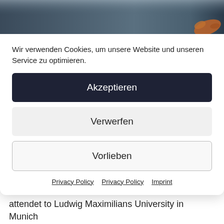[Figure (photo): Banner image with dark blue/grey gradient background and a partially visible orange/brown bird or shape in the bottom right corner.]
Wir verwenden Cookies, um unsere Website und unseren Service zu optimieren.
Akzeptieren
Verwerfen
Vorlieben
Privacy Policy  Privacy Policy  Imprint
Here you can find a general view of the actual publications of Dr. rer. pol. Beatrice Bischof. She attendet to Ludwig Maximilians University in Munich